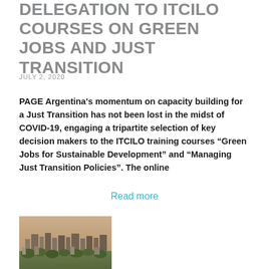DELEGATION TO ITCILO COURSES ON GREEN JOBS AND JUST TRANSITION
JULY 2, 2020
PAGE Argentina's momentum on capacity building for a Just Transition has not been lost in the midst of COVID-19, engaging a tripartite selection of key decision makers to the ITCILO training courses “Green Jobs for Sustainable Development” and “Managing Just Transition Policies”. The online
Read more
[Figure (photo): Aerial view of a city with buildings and trees under a hazy sky]